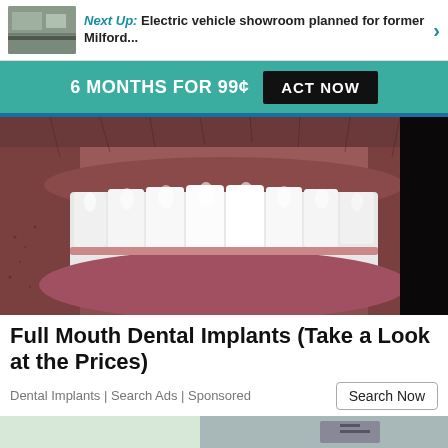Next Up: Electric vehicle showroom planned for former Milford...
6 MONTHS FOR 99¢  ACT NOW
[Figure (photo): Close-up photo of a man's mouth showing a full set of bright white dental implants/veneers, with stubble visible on the chin and cheeks]
Full Mouth Dental Implants (Take a Look at the Prices)
Dental Implants | Search Ads | Sponsored
[Figure (photo): Partial view of another image at the bottom of the page, partially cut off]